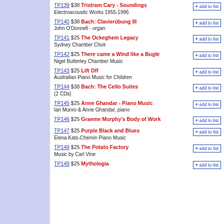TP139 $38 Tristram Cary - Soundings
Electroacoustic Works 1955-1996
TP140 $38 Bach: Clavierübung III
John O'Donnell - organ
TP141 $25 The Ockeghem Legacy
Sydney Chamber Choir
TP142 $25 There came a Wind like a Bugle
Nigel Butterley Chamber Music
TP143 $25 Lift Off
Australian Piano Music for Children
TP144 $38 Bach: The Cello Suites
(2 CDs)
TP145 $25 Anne Ghandar - Piano Music
Ian Munro & Anne Ghandar, piano
TP146 $25 Graeme Murphy's Body of Work
TP147 $25 Purple Black and Blues
Elena Kats-Chernin Piano Music
TP148 $25 The Potato Factory
Music by Carl Vine
TP149 $25 Mythologia